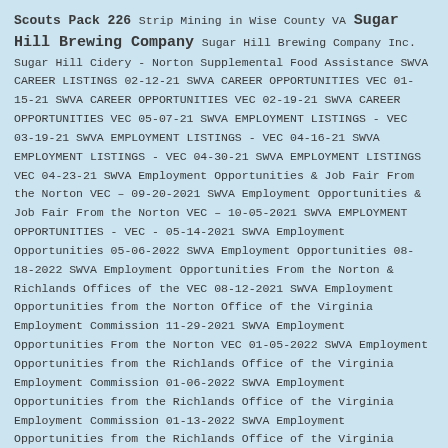Scouts Pack 226 Strip Mining in Wise County VA Sugar Hill Brewing Company Sugar Hill Brewing Company Inc. Sugar Hill Cidery - Norton Supplemental Food Assistance SWVA CAREER LISTINGS 02-12-21 SWVA CAREER OPPORTUNITIES VEC 01-15-21 SWVA CAREER OPPORTUNITIES VEC 02-19-21 SWVA CAREER OPPORTUNITIES VEC 05-07-21 SWVA EMPLOYMENT LISTINGS - VEC 03-19-21 SWVA EMPLOYMENT LISTINGS - VEC 04-16-21 SWVA EMPLOYMENT LISTINGS - VEC 04-30-21 SWVA EMPLOYMENT LISTINGS VEC 04-23-21 SWVA Employment Opportunities & Job Fair From the Norton VEC – 09-20-2021 SWVA Employment Opportunities & Job Fair From the Norton VEC – 10-05-2021 SWVA EMPLOYMENT OPPORTUNITIES - VEC - 05-14-2021 SWVA Employment Opportunities 05-06-2022 SWVA Employment Opportunities 08-18-2022 SWVA Employment Opportunities From the Norton & Richlands Offices of the VEC 08-12-2021 SWVA Employment Opportunities from the Norton Office of the Virginia Employment Commission 11-29-2021 SWVA Employment Opportunities From the Norton VEC 01-05-2022 SWVA Employment Opportunities from the Richlands Office of the Virginia Employment Commission 01-06-2022 SWVA Employment Opportunities from the Richlands Office of the Virginia Employment Commission 01-13-2022 SWVA Employment Opportunities from the Richlands Office of the Virginia Employment Commission 01-21-2022 SWVA Employment Opportunities from the Richlands Office of the Virginia Employment Commission 01-28-2022 SWVA Employment Opportunities from the Richlands Office of the Virginia Employment Commission 02-03-2022 SWVA Employment Opportunities from the Richlands